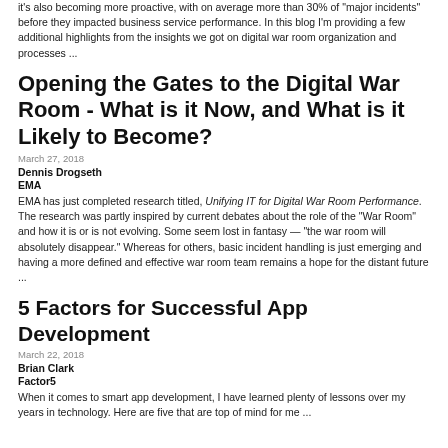it's also becoming more proactive, with on average more than 30% of "major incidents" before they impacted business service performance. In this blog I'm providing a few additional highlights from the insights we got on digital war room organization and processes ...
Opening the Gates to the Digital War Room - What is it Now, and What is it Likely to Become?
March 27, 2018
Dennis Drogseth
EMA
EMA has just completed research titled, Unifying IT for Digital War Room Performance. The research was partly inspired by current debates about the role of the "War Room" and how it is or is not evolving. Some seem lost in fantasy — "the war room will absolutely disappear." Whereas for others, basic incident handling is just emerging and having a more defined and effective war room team remains a hope for the distant future ...
5 Factors for Successful App Development
March 22, 2018
Brian Clark
Factor5
When it comes to smart app development, I have learned plenty of lessons over my years in technology. Here are five that are top of mind for me ...